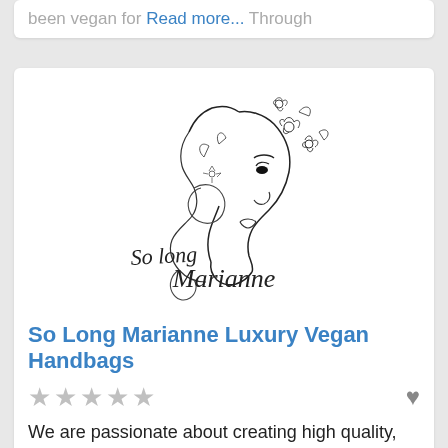been vegan for Read more... Through
[Figure (logo): So long Marianne logo — line art of a woman's profile with flowers in hair, with cursive script text 'So long Marianne' below]
So Long Marianne Luxury Vegan Handbags
★★★★★ ♥
We are passionate about creating high quality, stylish and elegant luxury vegan handbags.  PETA-approved, we want to meet the feminine Read more... feminine